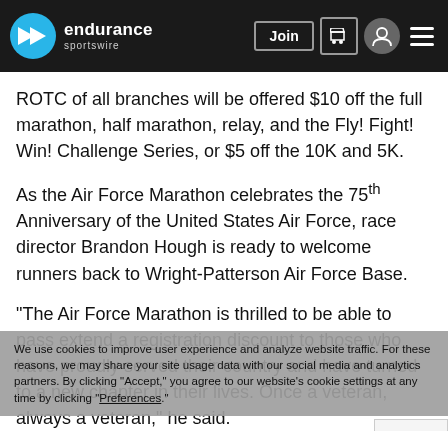endurance sportswire — navigation header with Join button
ROTC of all branches will be offered $10 off the full marathon, half marathon, relay, and the Fly! Fight! Win! Challenge Series, or $5 off the 10K and 5K.
As the Air Force Marathon celebrates the 75th Anniversary of the United States Air Force, race director Brandon Hough is ready to welcome runners back to Wright-Patterson Air Force Base.
“The Air Force Marathon is thrilled to be able to pass extend a registration discount to those who have proudly served their country and have turned to a new chapter in their lives. Once a veteran, always a veteran,” he said.
We use cookies to improve user experience and analyze website traffic. For these reasons, we may share your site usage data with our social media and analytics partners. By clicking “Accept,” you agree to our website’s cookie settings at any time by clicking “Preferences.”
The Annual Air Force Marathon is scheduled for Saturday, Sept. 17, 2022. The Health & Fitness Expo,